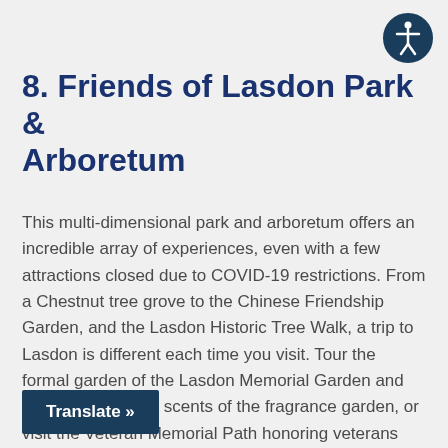[Figure (illustration): Accessibility icon: dark blue circle with white stick figure person with arms outstretched]
8. Friends of Lasdon Park & Arboretum
This multi-dimensional park and arboretum offers an incredible array of experiences, even with a few attractions closed due to COVID-19 restrictions. From a Chestnut tree grove to the Chinese Friendship Garden, and the Lasdon Historic Tree Walk, a trip to Lasdon is different each time you visit. Tour the formal garden of the Lasdon Memorial Garden and breathe the heady scents of the fragrance garden, or visit the Veteran Memorial Path honoring veterans from Westchester County. The trails and gardens are open for walking, and social distancing guidelines are in place.
Translate »